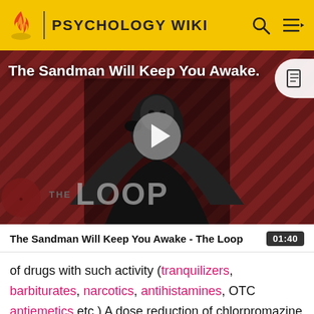PSYCHOLOGY WIKI
[Figure (screenshot): Video thumbnail for 'The Sandman Will Keep You Awake - The Loop' showing a dark-cloaked figure against a red and black diagonal striped background with 'THE LOOP' text overlay and a play button.]
The Sandman Will Keep You Awake - The Loop  01:40
of drugs with such activity (tranquilizers, barbiturates, narcotics, antihistamines, OTC antiemetics etc.) A dose reduction of chlorpromazine or the other drug may be